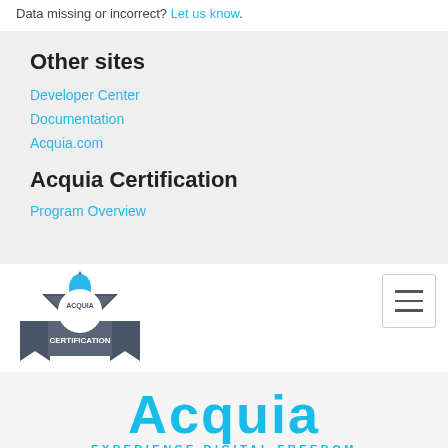Data missing or incorrect? Let us know.
Other sites
Developer Center
Documentation
Acquia.com
Acquia Certification
Program Overview
[Figure (logo): Acquia Certification badge logo with badge star shape, drop shape on top, and CERTIFICATION text]
[Figure (logo): Acquia logo with large blue text ACQUIA and tagline EXPERIENCE DIGITAL FREEDOM]